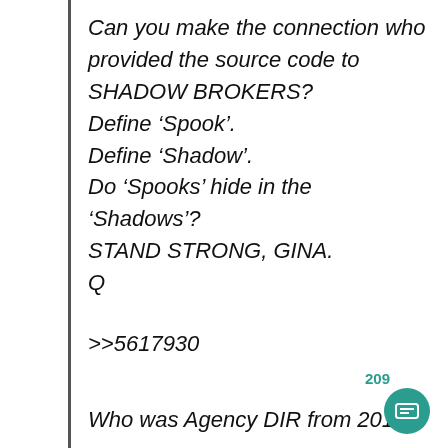Can you make the connection who provided the source code to SHADOW BROKERS?
Define ‘Spook’.
Define ‘Shadow’.
Do ‘Spooks’ hide in the ‘Shadows’?
STAND STRONG, GINA.
Q
>>5617930
Who was Agency DIR from 2012-